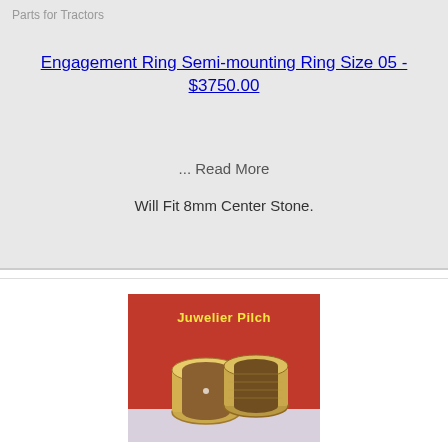Parts for Tractors
Engagement Ring Semi-mounting Ring Size 05 - $3750.00
... Read More
Will Fit 8mm Center Stone.
[Figure (photo): Photo of two gold wedding/engagement rings displayed on a red Juwelier Pilch branded background. The rings appear to be gold bands, one plain and one with a small diamond or accent stone.]